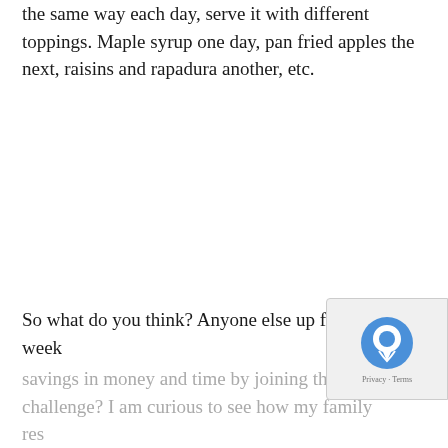the same way each day, serve it with different toppings. Maple syrup one day, pan fried apples the next, raisins and rapadura another, etc.
So what do you think? Anyone else up for a week of savings in money and time by joining the oatmeal challenge? I am curious to see how my family responds.